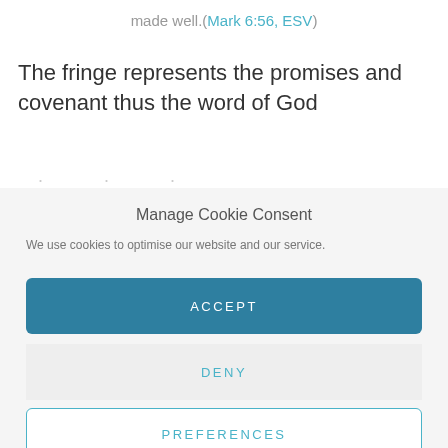made well.(Mark 6:56, ESV)
The fringe represents the promises and covenant thus the word of God
...
Manage Cookie Consent
We use cookies to optimise our website and our service.
ACCEPT
DENY
PREFERENCES